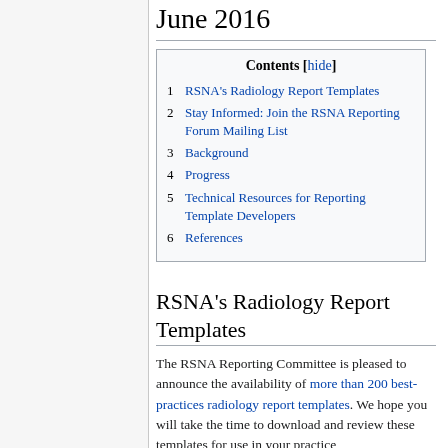June 2016
| # | Section |
| --- | --- |
| 1 | RSNA's Radiology Report Templates |
| 2 | Stay Informed: Join the RSNA Reporting Forum Mailing List |
| 3 | Background |
| 4 | Progress |
| 5 | Technical Resources for Reporting Template Developers |
| 6 | References |
RSNA's Radiology Report Templates
The RSNA Reporting Committee is pleased to announce the availability of more than 200 best-practices radiology report templates. We hope you will take the time to download and review these templates for use in your practice